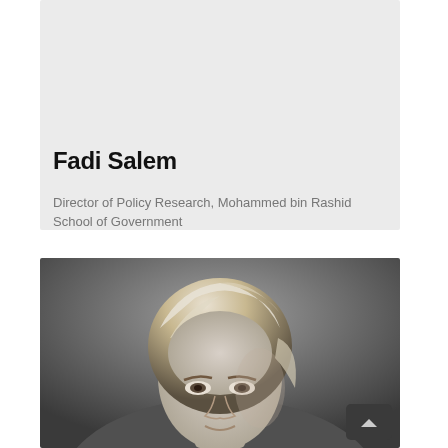Fadi Salem
Director of Policy Research, Mohammed bin Rashid School of Government
[Figure (photo): Black and white professional portrait photograph of a woman with highlighted blonde hair, looking directly at the camera]